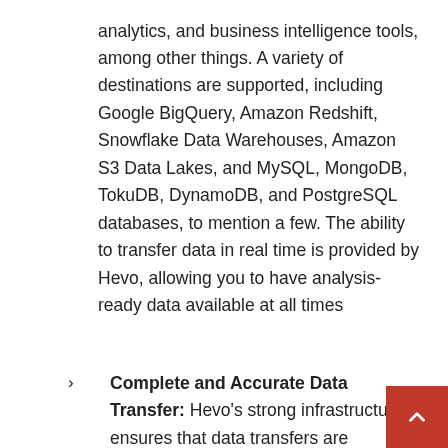analytics, and business intelligence tools, among other things. A variety of destinations are supported, including Google BigQuery, Amazon Redshift, Snowflake Data Warehouses, Amazon S3 Data Lakes, and MySQL, MongoDB, TokuDB, DynamoDB, and PostgreSQL databases, to mention a few. The ability to transfer data in real time is provided by Hevo, allowing you to have analysis-ready data available at all times
Complete and Accurate Data Transfer: Hevo's strong infrastructure ensures that data transfers are dependable and that no data is lost in the process.